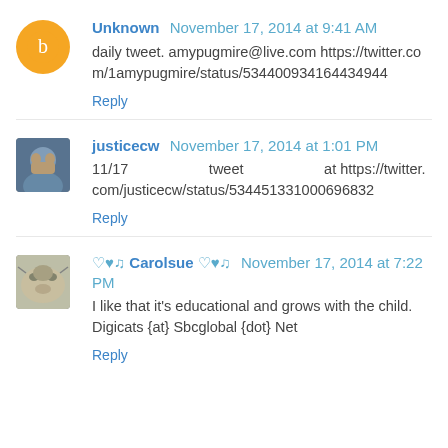Unknown  November 17, 2014 at 9:41 AM
daily tweet. amypugmire@live.com
https://twitter.com/1amypugmire/status/534400934164434944
Reply
justicecw  November 17, 2014 at 1:01 PM
11/17                     tweet                     at
https://twitter.com/justicecw/status/534451331000696832
Reply
♡♥♫ Carolsue ♡♥♫  November 17, 2014 at 7:22 PM
I like that it's educational and grows with the child. Digicats {at} Sbcglobal {dot} Net
Reply